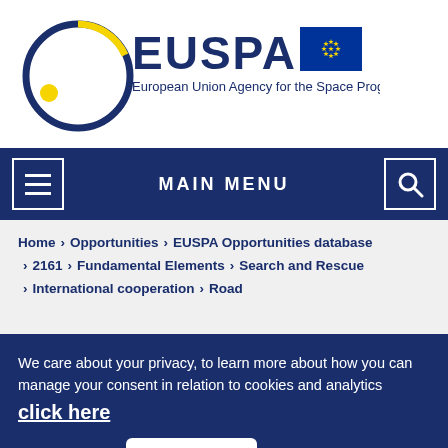[Figure (logo): EUSPA logo — European Union Agency for the Space Programme — circular dark blue and yellow arc with yellow dot, EUSPA text, EU flag]
MAIN MENU
Home > Opportunities > EUSPA Opportunities database > 2161 > Fundamental Elements > Search and Rescue > International cooperation > Road
We care about your privacy, to learn more about how you can manage your consent in relation to cookies and analytics click here
OK, I agree   No, thanks